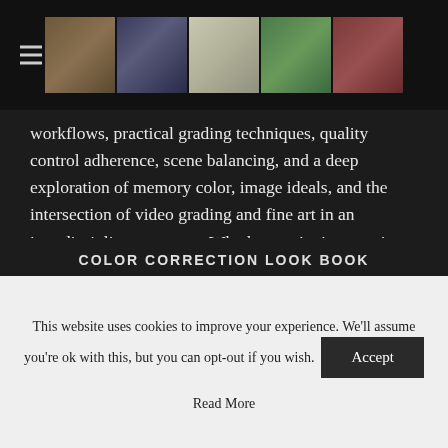[Header with hamburger menu and image strip]
workflows, practical grading techniques, quality control adherence, scene balancing, and a deep exploration of memory color, image ideals, and the intersection of video grading and fine art in an interdisciplinary context. Whether you're just starting out or have been grading for a while, there's something for colorists of all levels.
In print from Amazon; From Barnes & Noble; ePub, MOBI, and PDF from Peachpit
COLOR CORRECTION LOOK BOOK
This website uses cookies to improve your experience. We'll assume you're ok with this, but you can opt-out if you wish.
Accept
Read More